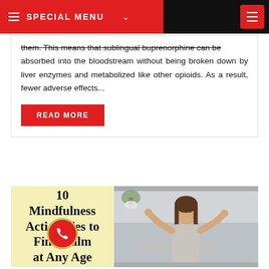SPECIAL MENU
them. This means that sublingual buprenorphine can be absorbed into the bloodstream without being broken down by liver enzymes and metabolized like other opioids. As a result, fewer adverse effects...
READ MORE
[Figure (photo): Blog card showing article '10 Mindfulness Activities to Find Calm at Any Age' with a yellow background on the left half and a photo of a woman meditating at a desk on the right half, plus a red phone icon overlay.]